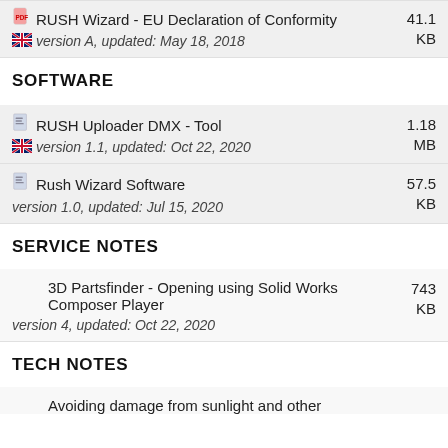RUSH Wizard - EU Declaration of Conformity
version A, updated: May 18, 2018
41.1 KB
SOFTWARE
RUSH Uploader DMX - Tool
version 1.1, updated: Oct 22, 2020
1.18 MB
Rush Wizard Software
version 1.0, updated: Jul 15, 2020
57.5 KB
SERVICE NOTES
3D Partsfinder - Opening using Solid Works Composer Player
version 4, updated: Oct 22, 2020
743 KB
TECH NOTES
Avoiding damage from sunlight and other